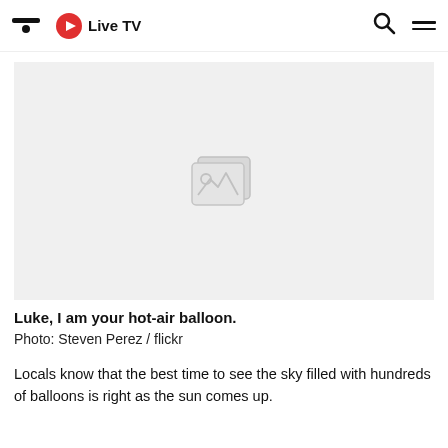Live TV
[Figure (photo): Broken/missing image placeholder showing a generic image icon on a light grey background]
Luke, I am your hot-air balloon.
Photo: Steven Perez / flickr
Locals know that the best time to see the sky filled with hundreds of balloons is right as the sun comes up.